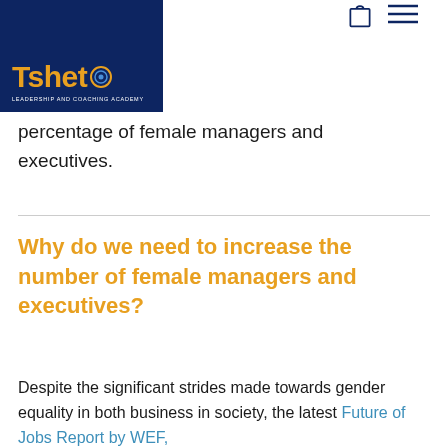Tsheto Leadership and Coaching Academy
percentage of female managers and executives.
Why do we need to increase the number of female managers and executives?
Despite the significant strides made towards gender equality in both business in society, the latest Future of Jobs Report by WEF,